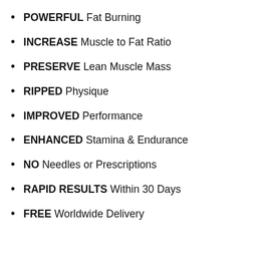POWERFUL Fat Burning
INCREASE Muscle to Fat Ratio
PRESERVE Lean Muscle Mass
RIPPED Physique
IMPROVED Performance
ENHANCED Stamina & Endurance
NO Needles or Prescriptions
RAPID RESULTS Within 30 Days
FREE Worldwide Delivery